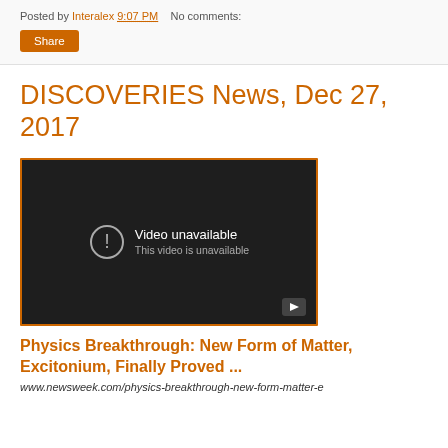Posted by Interalex 9:07 PM   No comments:
Share
DISCOVERIES News, Dec 27, 2017
[Figure (screenshot): Embedded YouTube video player showing 'Video unavailable — This video is unavailable' message on a dark background with a play button icon in the bottom right corner.]
Physics Breakthrough: New Form of Matter, Excitonium, Finally Proved ...
www.newsweek.com/physics-breakthrough-new-form-matter-e